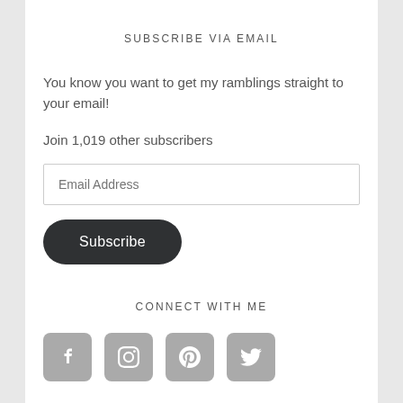SUBSCRIBE VIA EMAIL
You know you want to get my ramblings straight to your email!
Join 1,019 other subscribers
[Figure (other): Email address input field with placeholder text 'Email Address']
[Figure (other): Dark rounded Subscribe button]
CONNECT WITH ME
[Figure (other): Four social media icons: Facebook, Instagram, Pinterest, Twitter - gray rounded square buttons]